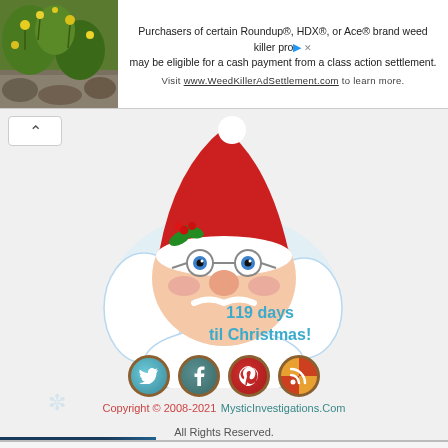[Figure (screenshot): Top advertisement banner: green plant/nature image on left, text about Roundup/HDX/Ace weed killer class action settlement on right, with visit WeedKillerAdSettlement.com]
[Figure (illustration): Santa Claus cartoon face illustration with red hat, holly decoration, white beard, blue eyes, round nose and glasses, with text '119 days til Christmas!' in teal/blue color]
119 days til Christmas!
[Figure (screenshot): Four social media bottle cap icons: Twitter (teal), Facebook (blue-green), Pinterest (red), RSS feed (red/gold striped)]
Copyright © 2008-2021 MysticInvestigations.Com All Rights Reserved. Site Disclaimer | Privacy Policy
[Figure (screenshot): Infolinks bar and bottom advertisement for Belk.com - Belk® - Official Site. Shop for clothing, handbags, jewelry, beauty, home & more! www.belk.com]